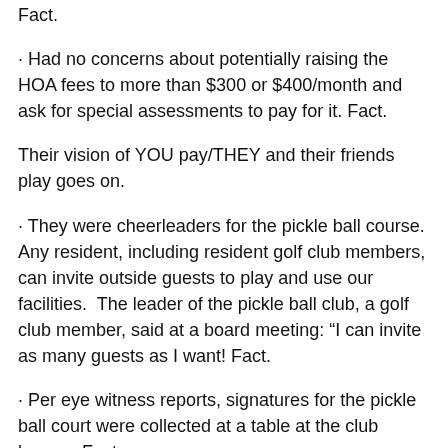Fact.
· Had no concerns about potentially raising the HOA fees to more than $300 or $400/month and ask for special assessments to pay for it. Fact.
Their vision of YOU pay/THEY and their friends play goes on.
· They were cheerleaders for the pickle ball course. Any resident, including resident golf club members, can invite outside guests to play and use our facilities. The leader of the pickle ball club, a golf club member, said at a board meeting: “I can invite as many guests as I want! Fact.
· Per eye witness reports, signatures for the pickle ball court were collected at a table at the club house. Fact.
· The Social Committee, mostly golf club members, when